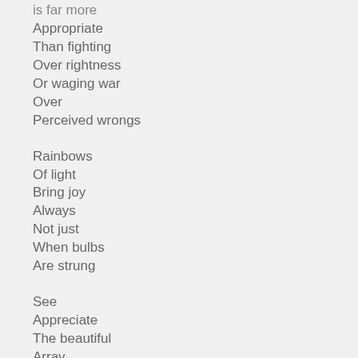is far more
Appropriate
Than fighting
Over rightness
Or waging war
Over
Perceived wrongs

Rainbows
Of light
Bring joy
Always
Not just
When bulbs
Are strung

See
Appreciate
The beautiful
Array
Of colors
Uniqueness